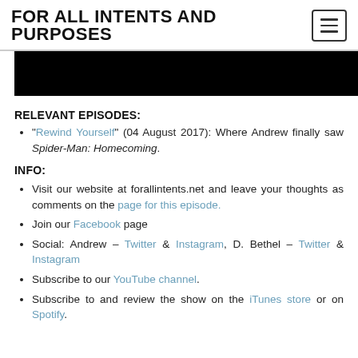FOR ALL INTENTS AND PURPOSES
[Figure (other): Black rectangular image/video thumbnail area]
RELEVANT EPISODES:
"Rewind Yourself" (04 August 2017): Where Andrew finally saw Spider-Man: Homecoming.
INFO:
Visit our website at forallintents.net and leave your thoughts as comments on the page for this episode.
Join our Facebook page
Social: Andrew – Twitter & Instagram, D. Bethel – Twitter & Instagram
Subscribe to our YouTube channel.
Subscribe to and review the show on the iTunes store or on Spotify.